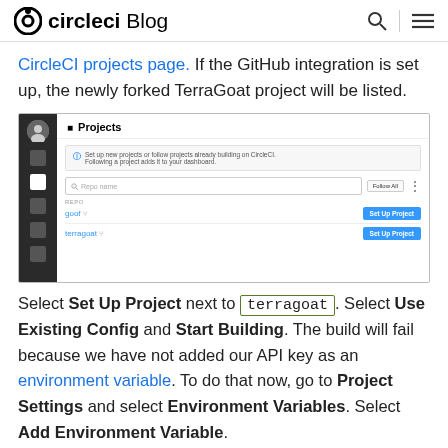circleci Blog
CircleCI projects page. If the GitHub integration is set up, the newly forked TerraGoat project will be listed.
[Figure (screenshot): CircleCI Projects page screenshot showing a sidebar with navigation icons, a Projects header, an info banner, a search box with 'Follow All' button, and two repositories: 'goof' and 'terragoat', each with a 'Set Up Project' button.]
Select Set Up Project next to terragoat. Select Use Existing Config and Start Building. The build will fail because we have not added our API key as an environment variable. To do that now, go to Project Settings and select Environment Variables. Select Add Environment Variable.